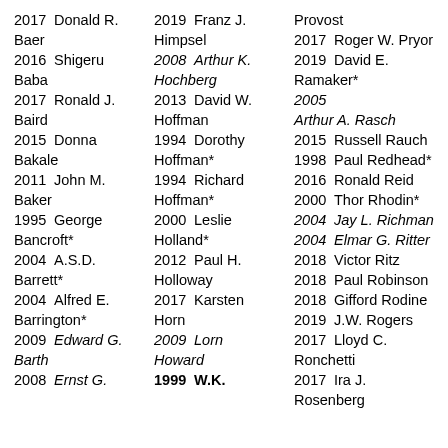2017 Donald R. Baer
2016 Shigeru Baba
2017 Ronald J. Baird
2015 Donna Bakale
2011 John M. Baker
1995 George Bancroft*
2004 A.S.D. Barrett*
2004 Alfred E. Barrington*
2009 Edward G. Barth
2008 Ernst G.
2019 Franz J. Himpsel
2008 Arthur K. Hochberg
2013 David W. Hoffman
1994 Dorothy Hoffman*
1994 Richard Hoffman*
2000 Leslie Holland*
2012 Paul H. Holloway
2017 Karsten Horn
2009 Lorn Howard
1999 W.K.
Provost
2017 Roger W. Pryor
2019 David E. Ramaker*
2005 Arthur A. Rasch
2015 Russell Rauch
1998 Paul Redhead*
2016 Ronald Reid
2000 Thor Rhodin*
2004 Jay L. Richman
2004 Elmar G. Ritter
2018 Victor Ritz
2018 Paul Robinson
2018 Gifford Rodine
2019 J.W. Rogers
2017 Lloyd C. Ronchetti
2017 Ira J. Rosenberg